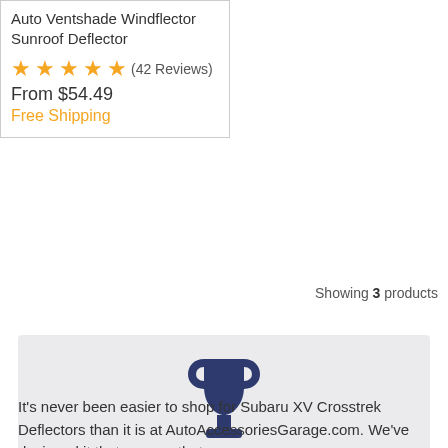Auto Ventshade Windflector Sunroof Deflector
★★★★★ (42 Reviews)
From $54.49
Free Shipping
Showing 3 products
[Figure (illustration): Dark navy trophy/cup icon]
Can't make up your mind? Let us help you out! We put our years of industry experience, customer reviews, and expert opinions to use and ranked our Most Popular Deflectors.
It's never been easier to shop for Subaru XV Crosstrek Deflectors than it is at AutoAccessoriesGarage.com. We've designed it that way, so that you can come on